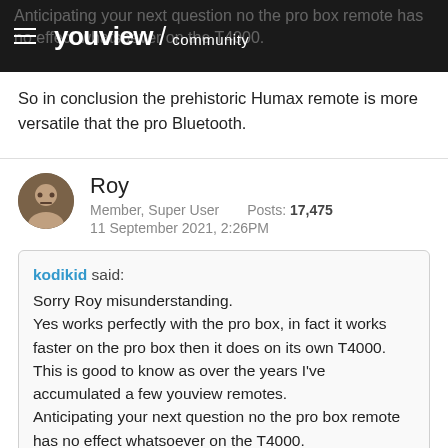youview / community
So in conclusion the prehistoric Humax remote is more versatile that the pro Bluetooth.
Roy
Member, Super User    Posts: 17,475
11 September 2021, 2:26PM
kodikid said:
Sorry Roy misunderstanding.
Yes works perfectly with the pro box, in fact it works faster on the pro box then it does on its own T4000.
This is good to know as over the years I've accumulated a few youview remotes.
Anticipating your next question no the pro box remote has no effect whatsoever on the T4000.
So in conclusion the prehistoric Humax remote is